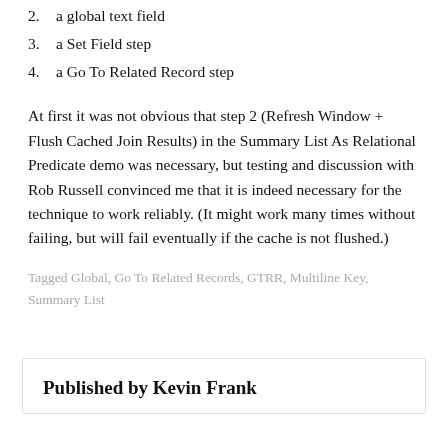2. a global text field
3. a Set Field step
4. a Go To Related Record step
At first it was not obvious that step 2 (Refresh Window + Flush Cached Join Results) in the Summary List As Relational Predicate demo was necessary, but testing and discussion with Rob Russell convinced me that it is indeed necessary for the technique to work reliably. (It might work many times without failing, but will fail eventually if the cache is not flushed.)
Tagged Global, Go To Related Records, GTRR, Multiline Key, Summary List
Published by Kevin Frank